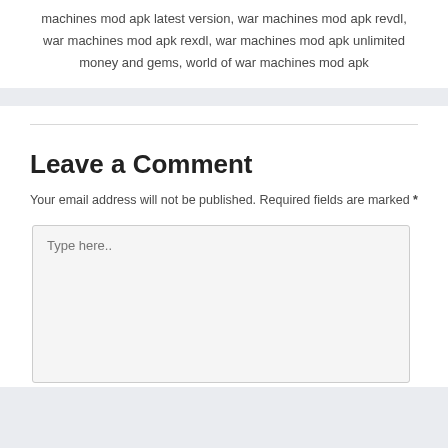machines mod apk latest version, war machines mod apk revdl, war machines mod apk rexdl, war machines mod apk unlimited money and gems, world of war machines mod apk
Leave a Comment
Your email address will not be published. Required fields are marked *
Type here..